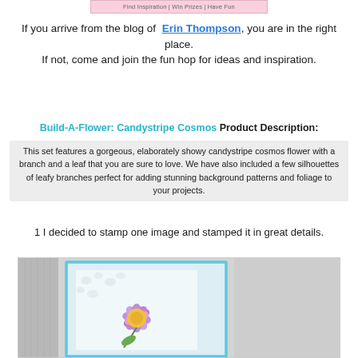[Figure (infographic): Pink banner with text 'Find Inspiration | Win Prizes | Have Fun']
If you arrive from the blog of Erin Thompson, you are in the right place.
If not, come and join the fun hop for ideas and inspiration.
Build-A-Flower: Candystripe Cosmos Product Description:
This set features a gorgeous, elaborately showy candystripe cosmos flower with a branch and a leaf that you are sure to love. We have also included a few silhouettes of leafy branches perfect for adding stunning background patterns and foliage to your projects.
1 I decided to stamp one image and stamped it in great details.
[Figure (photo): Photo of a handmade card featuring a colorful candystripe cosmos flower stamped on white embossed background with light blue card border, placed on a crafting surface with rubber stamps visible to the left.]